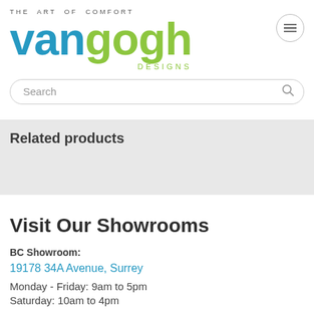[Figure (logo): Van Gogh Designs logo with tagline 'THE ART OF COMFORT', 'van' in blue, 'gogh' in green, 'DESIGNS' in green below]
Search
Related products
Visit Our Showrooms
BC Showroom:
19178 34A Avenue, Surrey
Monday - Friday: 9am to 5pm
Saturday: 10am to 4pm